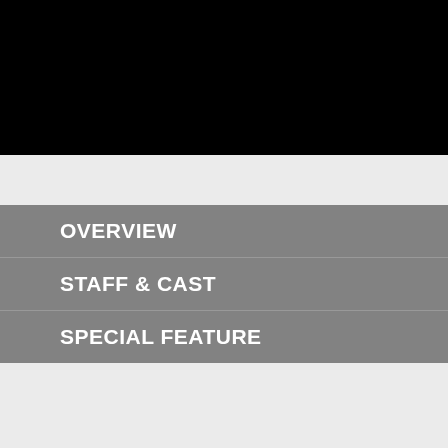[Figure (other): Black header bar spanning the top of the page]
OVERVIEW
STAFF & CAST
SPECIAL FEATURE
Production I.G > WORK LIST > Vampire in the
Vampire in the Garden